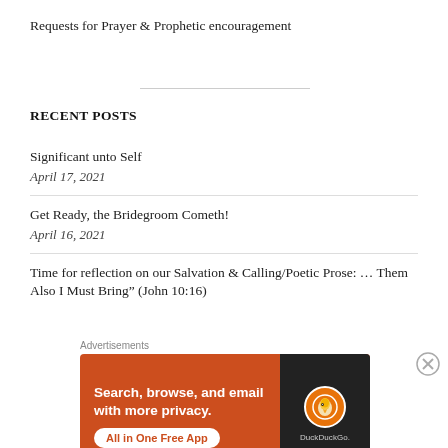Requests for Prayer & Prophetic encouragement
RECENT POSTS
Significant unto Self
April 17, 2021
Get Ready, the Bridegroom Cometh!
April 16, 2021
Time for reflection on our Salvation & Calling/Poetic Prose: … Them Also I Must Bring” (John 10:16)
Advertisements
[Figure (screenshot): DuckDuckGo advertisement banner with orange background. Text reads: Search, browse, and email with more privacy. All in One Free App. Shows a smartphone with the DuckDuckGo duck logo.]